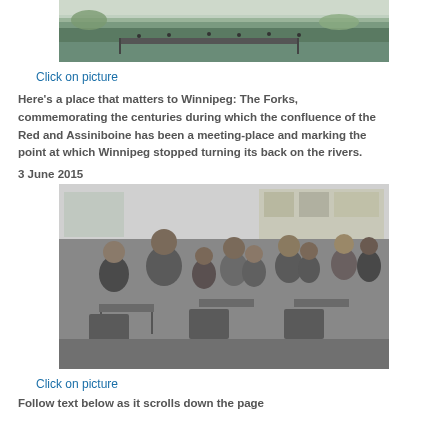[Figure (photo): Aerial or waterfront view of The Forks in Winnipeg, showing people near a dock or waterfront area with green landscape]
Click on picture
Here's a place that matters to Winnipeg: The Forks, commemorating the centuries during which the confluence of the Red and Assiniboine has been a meeting-place and marking the point at which Winnipeg stopped turning its back on the rivers.
3 June 2015
[Figure (photo): Black and white historical photograph of Indigenous children sitting at school desks in a classroom, apparently at a residential school]
Click on picture
Follow text below as it scrolls down the page